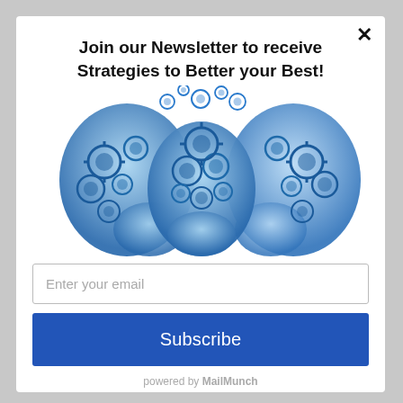Join our Newsletter to receive Strategies to Better your Best!
[Figure (illustration): Three human heads made of blue metallic gears and cogs, with the center head facing forward and the two side heads facing inward in profile view, with gears floating above the center head.]
Enter your email
Subscribe
powered by MailMunch